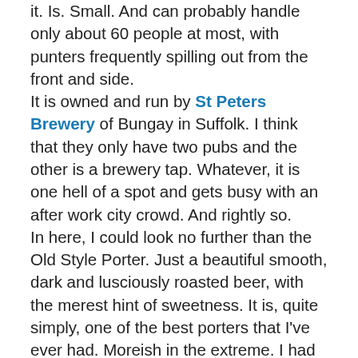it. Is. Small. And can probably handle only about 60 people at most, with punters frequently spilling out from the front and side. It is owned and run by St Peters Brewery of Bungay in Suffolk. I think that they only have two pubs and the other is a brewery tap. Whatever, it is one hell of a spot and gets busy with an after work city crowd. And rightly so. In here, I could look no further than the Old Style Porter. Just a beautiful smooth, dark and lusciously roasted beer, with the merest hint of sweetness. It is, quite simply, one of the best porters that I've ever had. Moreish in the extreme. I had two. I should have picked up a bottle of Honey Porter too. But I have a memory like Emmental. Going home the next evening after work, we had an hour or two to kill. Now then, I love the Euston Tap as much as anybody, but the range of breweries just….doesn't really